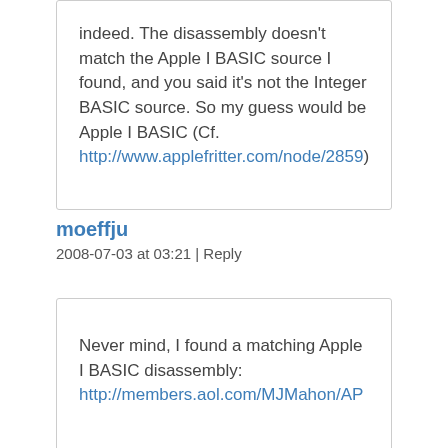indeed. The disassembly doesn't match the Apple I BASIC source I found, and you said it's not the Integer BASIC source. So my guess would be Apple I BASIC (Cf. http://www.applefritter.com/node/2859)
moeffju
2008-07-03 at 03:21 | Reply
Never mind, I found a matching Apple I BASIC disassembly: http://members.aol.com/MJMahon/AP